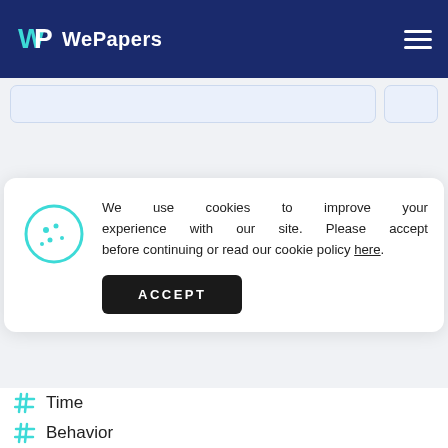WePapers
[Figure (screenshot): Partial search bar UI with input field and button]
We use cookies to improve your experience with our site. Please accept before continuing or read our cookie policy here.
ACCEPT
# Time
# Behavior
# Literature